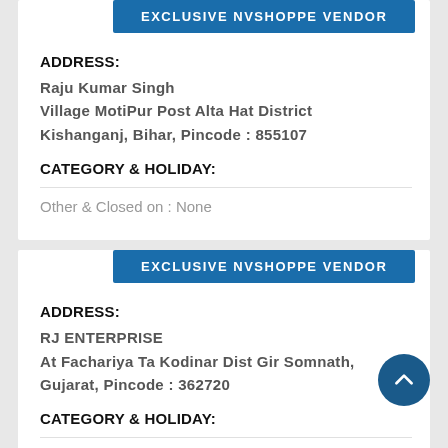EXCLUSIVE NVSHOPPE VENDOR
ADDRESS:
Raju Kumar Singh
Village MotiPur Post Alta Hat District
Kishanganj, Bihar, Pincode : 855107
CATEGORY & HOLIDAY:
Other & Closed on : None
EXCLUSIVE NVSHOPPE VENDOR
ADDRESS:
RJ ENTERPRISE
At Fachariya Ta Kodinar Dist Gir Somnath,
Gujarat, Pincode : 362720
CATEGORY & HOLIDAY:
Grocery & Closed on : None